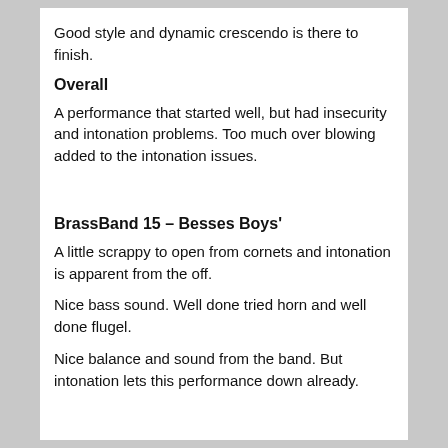Good style and dynamic crescendo is there to finish.
Overall
A performance that started well, but had insecurity and intonation problems. Too much over blowing added to the intonation issues.
BrassBand 15 – Besses Boys'
A little scrappy to open from cornets and intonation is apparent from the off.
Nice bass sound. Well done tried horn and well done flugel.
Nice balance and sound from the band. But intonation lets this performance down already.